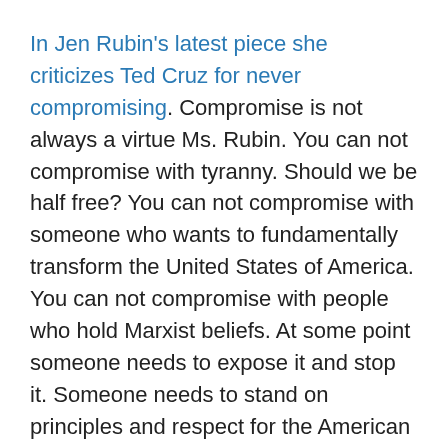In Jen Rubin's latest piece she criticizes Ted Cruz for never compromising. Compromise is not always a virtue Ms. Rubin. You can not compromise with tyranny. Should we be half free? You can not compromise with someone who wants to fundamentally transform the United States of America. You can not compromise with people who hold Marxist beliefs. At some point someone needs to expose it and stop it. Someone needs to stand on principles and respect for the American people and that person is Ted Cruz. Ted Cruz speaks to the people in the heartland. He feels their pain and their sorrow. He hears their voice when nobody else will. He shares their love for the American heritage and the Constitution. He answers their long held prayer that someone will stand up to the people who are hell bent on destroying our country and he knows the vi...